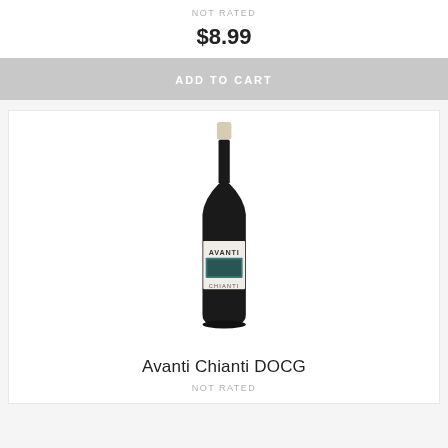NOT RATED
$8.99
ADD TO CART
[Figure (photo): A wine bottle with a white label reading 'AVANTI' and 'CHIANTI', dark glass body, light cream foil top.]
Avanti Chianti DOCG
NOT RATED